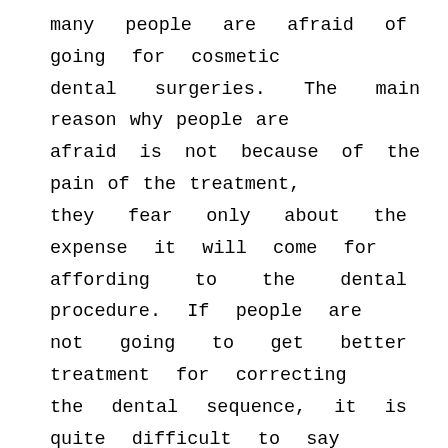many people are afraid of going for cosmetic dental surgeries. The main reason why people are afraid is not because of the pain of the treatment, they fear only about the expense it will come for affording to the dental procedure. If people are not going to get better treatment for correcting the dental sequence, it is quite difficult to say that people can enjoy a better social life and make friendship with others in a better way.
A solution is now available for people to get dental finances in a very simple way. The rol dentist is also involved in this process. If dentist